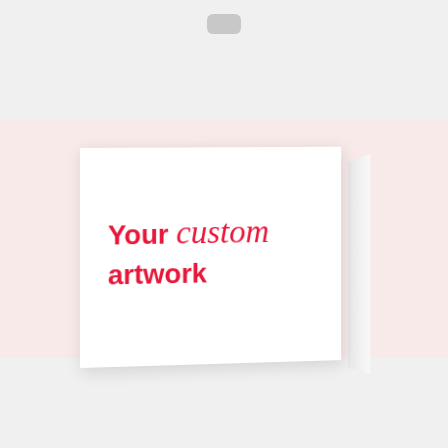[Figure (photo): A product mockup of a folded greeting card standing upright against a light pink/blush background. The card is white with a slight 3D perspective showing the front panel and the folded right edge. On the front of the card, text reads 'Your custom artwork' in bold red, with the word 'custom' rendered in a cursive/script style. The top portion of the image has a light gray bar (likely a browser or app interface chrome) with a small camera icon near the top center.]